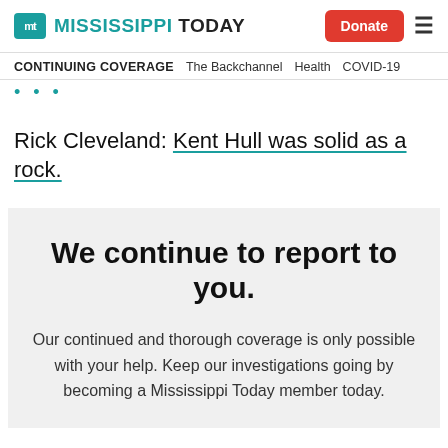Mississippi Today | Donate
CONTINUING COVERAGE  The Backchannel  Health  COVID-19
Rick Cleveland: Kent Hull was solid as a rock.
We continue to report to you.
Our continued and thorough coverage is only possible with your help. Keep our investigations going by becoming a Mississippi Today member today.